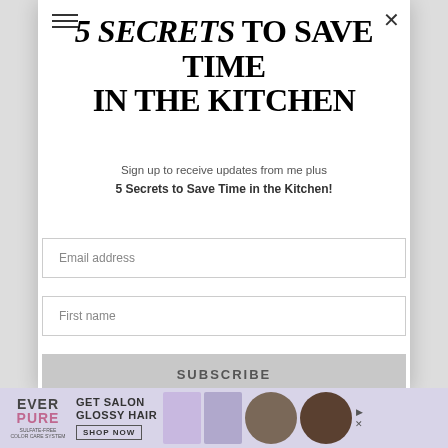5 SECRETS TO SAVE TIME IN THE KITCHEN
Sign up to receive updates from me plus 5 Secrets to Save Time in the Kitchen!
Email address
First name
SUBSCRIBE
[Figure (infographic): EverPure Get Salon Glossy Hair advertisement banner with product images and Shop Now button]